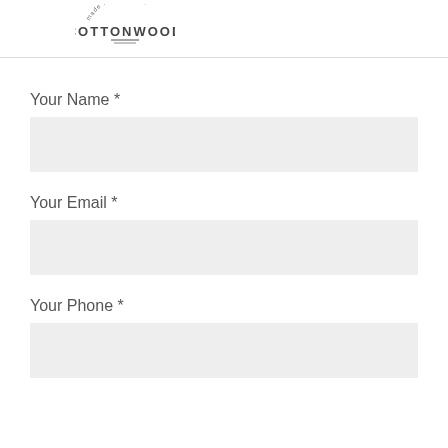[Figure (logo): Cottonwood logo with arched text and small tagline above, double underline below]
Your Name  *
Your Email  *
Your Phone  *